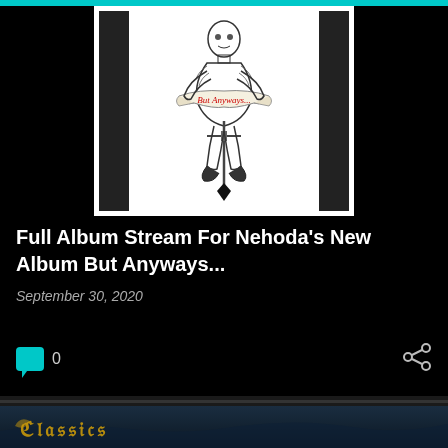[Figure (illustration): Album cover art for Nehoda's 'But Anyways...' showing a skeletal or medieval figure holding a sword, with a banner ribbon reading 'But Anyways...' in red script text. Black and white ink drawing on white background with black side panels.]
Full Album Stream For Nehoda's New Album But Anyways...
September 30, 2020
0
[Figure (photo): Partial view of a second article card showing a band logo in golden/yellow stylized text on a dark blue atmospheric background, partially visible at bottom of page.]